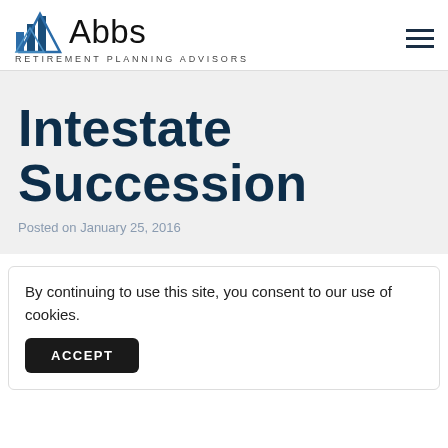Abbs Retirement Planning Advisors
Intestate Succession
Posted on January 25, 2016
By continuing to use this site, you consent to our use of cookies.